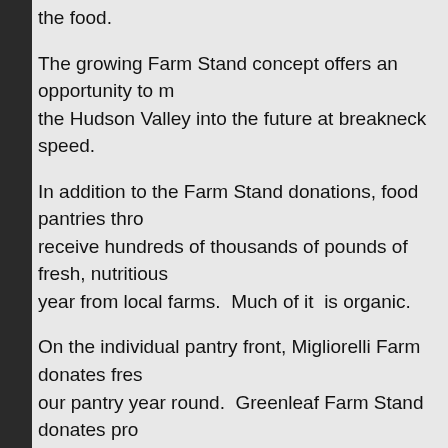the food.
The growing Farm Stand concept offers an opportunity to move the Hudson Valley into the future at breakneck speed.
In addition to the Farm Stand donations, food pantries throughout receive hundreds of thousands of pounds of fresh, nutritious food each year from local farms.  Much of it  is organic.
On the individual pantry front, Migliorelli Farm donates fresh produce to our pantry year round.  Greenleaf Farm Stand donates produce to clients who drop by before the pantry opens every Monday.
Prasida and Francine drive the  pantry van to the Regional Food Bank weekly to pick up fresh produce donated from Hudson Valley farms.
The Regional Food Bank owns the Patroon Farm which  grows organic vegetables. Their crops all go to the food pantries and soup kitchens in our area.